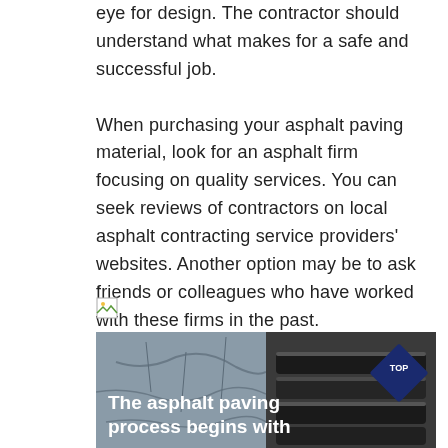eye for design. The contractor should understand what makes for a safe and successful job. When purchasing your asphalt paving material, look for an asphalt firm focusing on quality services. You can seek reviews of contractors on local asphalt contracting service providers' websites. Another option may be to ask friends or colleagues who have worked with these firms in the past.
.
[Figure (photo): Broken/missing image icon placeholder]
[Figure (photo): Photo of asphalt paving materials — left side shows cracked asphalt surface, right side shows rolls of dark asphalt/roofing material stacked. A diamond-shaped badge in the top-right corner reads 'TOP'. Caption text reads 'The asphalt paving process begins with']